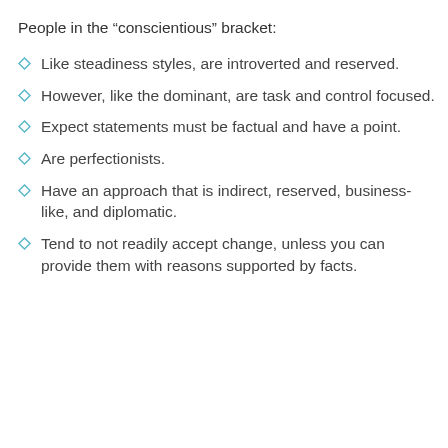People in the “conscientious” bracket:
Like steadiness styles, are introverted and reserved.
However, like the dominant, are task and control focused.
Expect statements must be factual and have a point.
Are perfectionists.
Have an approach that is indirect, reserved, business-like, and diplomatic.
Tend to not readily accept change, unless you can provide them with reasons supported by facts.